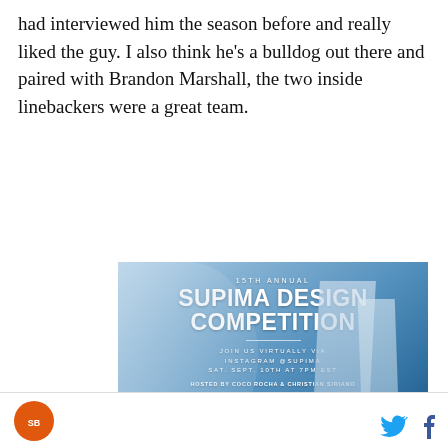had interviewed him the season before and really liked the guy. I also think he's a bulldog out there and paired with Brandon Marshall, the two inside linebackers were a great team.
[Figure (photo): Advertisement for the 15th Annual Supima Design Competition. Blue background with fashion imagery. Text reads: '15TH ANNUAL SUPIMA DESIGN COMPETITION. JOIN US VIRTUALLY VIA INSTAGRAM @SUPIMA SAT. SEPT. 10TH AT 7PM EST. HOSTED BY COCO ROCHA & CHRISTIAN SIRIANO'. Footer shows logos of partner schools: Academy of Art, Drexel, FIDM, FIT, Kent State, Parsons, and SAIC.]
[Figure (logo): Circular orange logo in the page footer (left side)]
[Figure (other): Twitter bird icon (blue) and Facebook 'f' icon in the page footer (right side)]